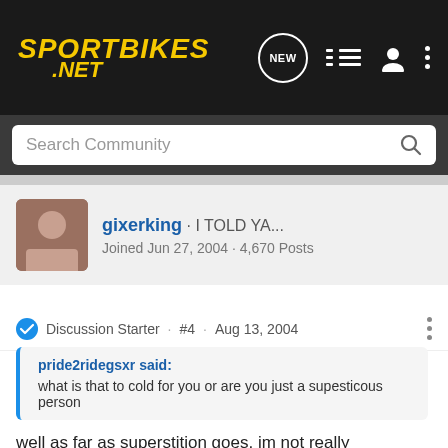Sportbikes.NET — navigation header with search bar
gixerking · I TOLD YA...
Joined Jun 27, 2004 · 4,670 Posts
Discussion Starter · #4 · Aug 13, 2004
pride2ridegsxr said:
what is that to cold for you or are you just a supesticous person
well as far as superstition goes, im not really superstitious but there are a lot of people that are. the problem with that is that the people that are superstitious (or "think they are" which is sometimes worse) i think create a hazard for everyone.